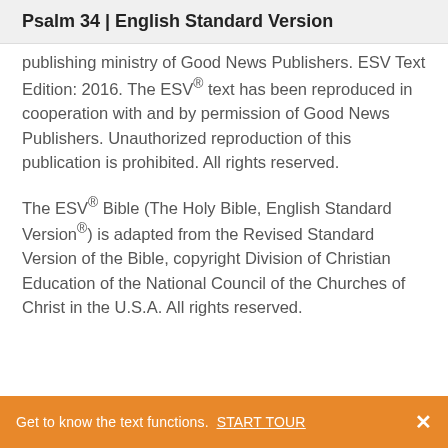Psalm 34 | English Standard Version
publishing ministry of Good News Publishers. ESV Text Edition: 2016. The ESV® text has been reproduced in cooperation with and by permission of Good News Publishers. Unauthorized reproduction of this publication is prohibited. All rights reserved.
The ESV® Bible (The Holy Bible, English Standard Version®) is adapted from the Revised Standard Version of the Bible, copyright Division of Christian Education of the National Council of the Churches of Christ in the U.S.A. All rights reserved.
Get to know the text functions. START TOUR ×